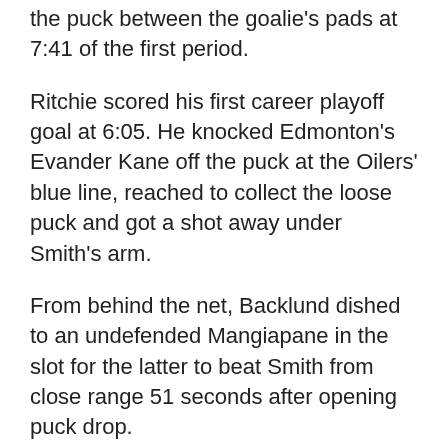the puck between the goalie's pads at 7:41 of the first period.
Ritchie scored his first career playoff goal at 6:05. He knocked Edmonton's Evander Kane off the puck at the Oilers' blue line, reached to collect the loose puck and got a shot away under Smith's arm.
From behind the net, Backlund dished to an undefended Mangiapane in the slot for the latter to beat Smith from close range 51 seconds after opening puck drop.
Lindholm converted Calgary's first shot of the game into a goal 26 seconds after opening faceoff. He settled a bouncing puck off a cross-ice dish from Rasmus Andersson and swept it